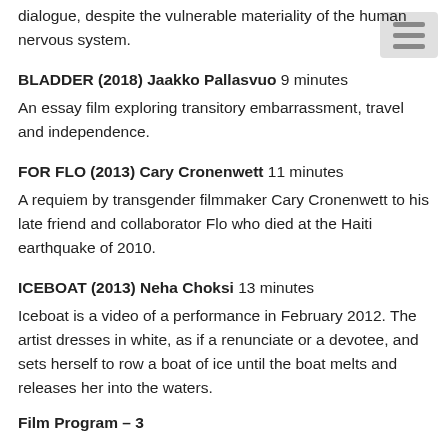dialogue, despite the vulnerable materiality of the human nervous system.
BLADDER (2018) Jaakko Pallasvuo 9 minutes
An essay film exploring transitory embarrassment, travel and independence.
FOR FLO (2013) Cary Cronenwett 11 minutes
A requiem by transgender filmmaker Cary Cronenwett to his late friend and collaborator Flo who died at the Haiti earthquake of 2010.
ICEBOAT (2013) Neha Choksi 13 minutes
Iceboat is a video of a performance in February 2012. The artist dresses in white, as if a renunciate or a devotee, and sets herself to row a boat of ice until the boat melts and releases her into the waters.
Film Program – 3
L'AMOUR SAUVAGE (2015) Lion Shemrin 35 minutes